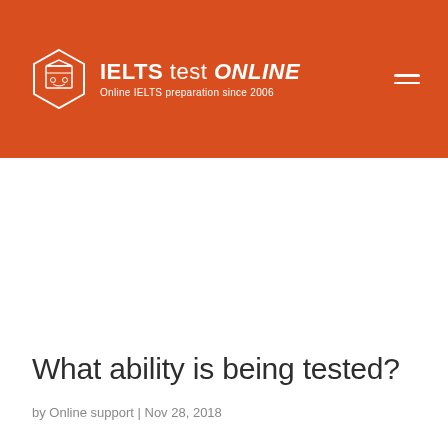IELTS test ONLINE — Online IELTS preparation since 2006
What ability is being tested?
by Online support | Nov 28, 2018